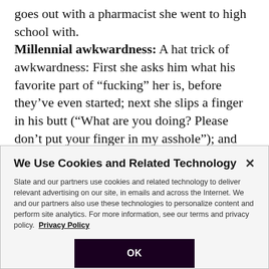goes out with a pharmacist she went to high school with. Millennial awkwardness: A hat trick of awkwardness: First she asks him what his favorite part of “fucking” her is, before they’ve even started; next she slips a finger in his butt (“What are you doing? Please don’t put your finger in my asshole”); and then she whispers to him, “I’m tight like a baby, right?” This Midwestern boy is just not prepared for Hannah’s big-city ways.
We Use Cookies and Related Technology

Slate and our partners use cookies and related technology to deliver relevant advertising on our site, in emails and across the Internet. We and our partners also use these technologies to personalize content and perform site analytics. For more information, see our terms and privacy policy. Privacy Policy

OK